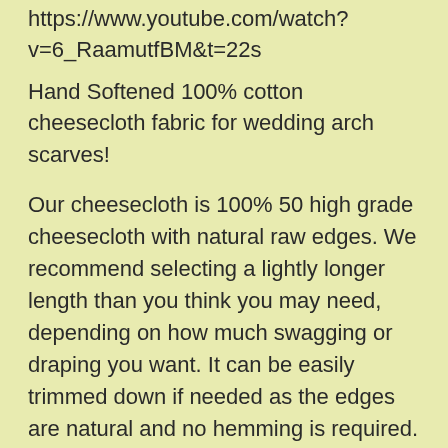https://www.youtube.com/watch?v=6_RaamutfBM&t=22s
Hand Softened 100% cotton cheesecloth fabric for wedding arch scarves!
Our cheesecloth is 100% 50 high grade cheesecloth with natural raw edges. We recommend selecting a lightly longer length than you think you may need, depending on how much swagging or draping you want. It can be easily trimmed down if needed as the edges are natural and no hemming is required. For an extra full look, you may want to consider purchasing multiple panels.
NOTE: THE PHOTOS SHOWN ARE DISPLAYING 40 FT. ARCH SCARVES